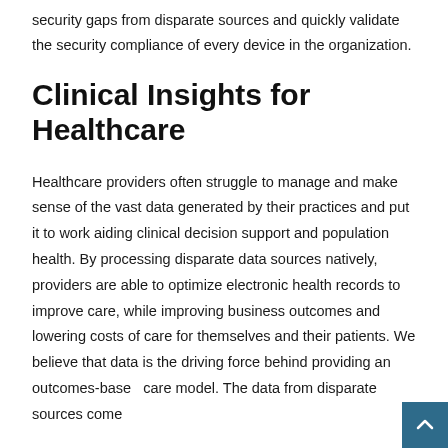security gaps from disparate sources and quickly validate the security compliance of every device in the organization.
Clinical Insights for Healthcare
Healthcare providers often struggle to manage and make sense of the vast data generated by their practices and put it to work aiding clinical decision support and population health. By processing disparate data sources natively, providers are able to optimize electronic health records to improve care, while improving business outcomes and lowering costs of care for themselves and their patients. We believe that data is the driving force behind providing an outcomes-based care model. The data from disparate sources come